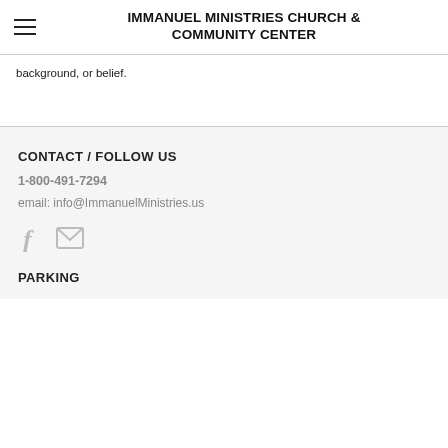IMMANUEL MINISTRIES CHURCH & COMMUNITY CENTER
background, or belief.
CONTACT / FOLLOW US
1-800-491-7294
email: info@ImmanuelMinistries.us
[Figure (other): Social media icons: Facebook (f) and mail/envelope icon]
PARKING